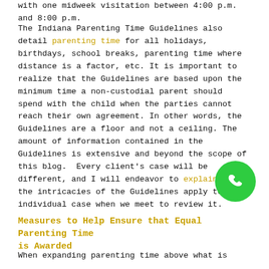with one midweek visitation between 4:00 p.m. and 8:00 p.m.
The Indiana Parenting Time Guidelines also detail parenting time for all holidays, birthdays, school breaks, parenting time where distance is a factor, etc. It is important to realize that the Guidelines are based upon the minimum time a non-custodial parent should spend with the child when the parties cannot reach their own agreement. In other words, the Guidelines are a floor and not a ceiling. The amount of information contained in the Guidelines is extensive and beyond the scope of this blog. Every client's case will be different, and I will endeavor to explain how the intricacies of the Guidelines apply to your individual case when we meet to review it.
Measures to Help Ensure that Equal Parenting Time is Awarded
When expanding parenting time above what is recommended by the Parenting Time Guidelines, there should